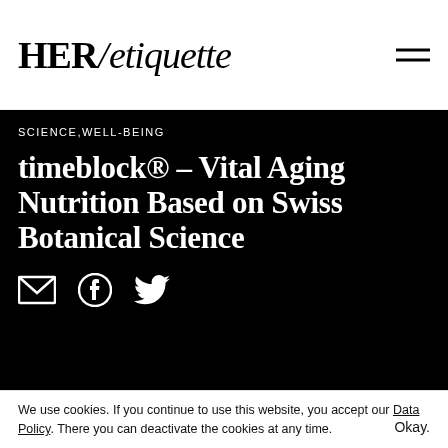HER/etiquette
SCIENCE,WELL-BEING
timeblock® – Vital Aging Nutrition Based on Swiss Botanical Science
[Figure (photo): Social sharing icons: envelope/email, Facebook, Twitter]
[Figure (photo): timeblock product boxes – white packaging with gold accents showing 'time block' branding on grey background]
We use cookies. If you continue to use this website, you accept our Data Policy. There you can deactivate the cookies at any time.
Okay.